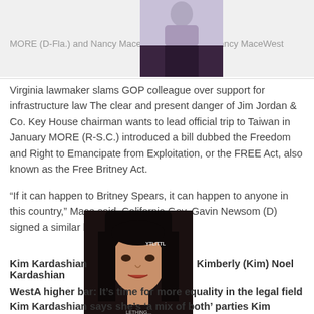MORE (D-Fla.) and Nancy Mace  Nancy MaceWest
[Figure (photo): Photo of a woman in a dark outfit, partial view, lavender/purple background top half, dark bottom half]
Virginia lawmaker slams GOP colleague over support for infrastructure law The clear and present danger of Jim Jordan & Co. Key House chairman wants to lead official trip to Taiwan in January MORE (R-S.C.) introduced a bill dubbed the Freedom and Right to Emancipate from Exploitation, or the FREE Act, also known as the Free Britney Act.
“If it can happen to Britney Spears, it can happen to anyone in this country,” Mace said. California Gov. Gavin Newsom (D) signed a similar bill into law in October.
[Figure (photo): Photo of Kim Kardashian with dark hair pulled back, wearing dark outfit, at a PRETTYLITTLETHING event]
Kim Kardashian  Kimberly (Kim) Noel Kardashian West
A higher bar: It’s time for more equality in the legal field Kim Kardashian says she’s ‘a mix of both’ parties Kim Kardashian says